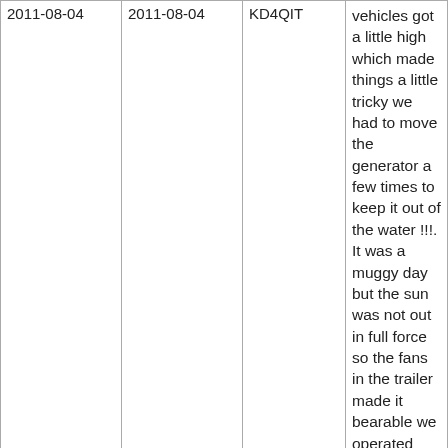| Date | Date | Callsign | Text |
| --- | --- | --- | --- |
| 2011-08-04 | 2011-08-04 | KD4QIT | vehicles got a little high which made things a little tricky we had to move the generator a few times to keep it out of the water !!!. It was a muggy day but the sun was not out in full force so the fans in the trailer made it bearable we operated 20meter psk31 ,20 meter SSB ,30 meter psk31 and were not to successful on 15 and 40 but had a blast and we made over 50 contacts during the event !! All qsl's will be uploaded to eqsl and lotw to cut back on the postage costs had a great time but forgot to take pictures and to install the matching element on the 15 meter beam so that antenna did not work well didn't even think about the element until i got home and was putting everything away |